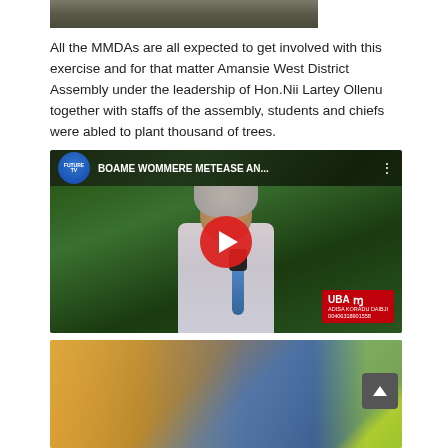[Figure (photo): Partial photo at top of page, cropped]
All the MMDAs are all expected to get involved with this exercise and for that matter Amansie West District Assembly under the leadership of Hon.Nii Lartey Ollenu together with staffs of the assembly, students and chiefs were abled to plant thousand of trees.
[Figure (screenshot): YouTube video thumbnail showing a female reporter in hijab holding a microphone in front of green vegetation. Video title: BOAME WOMMERE METEASE AN... Channel logo visible top left. Red YouTube play button in center. UBA advertisement badge bottom right with text ADISA KORADU DAIBJI 00406318901558.]
[Figure (photo): Partial photo at bottom showing multiple people outdoors, partially cropped. Scroll to top button overlaid at right.]